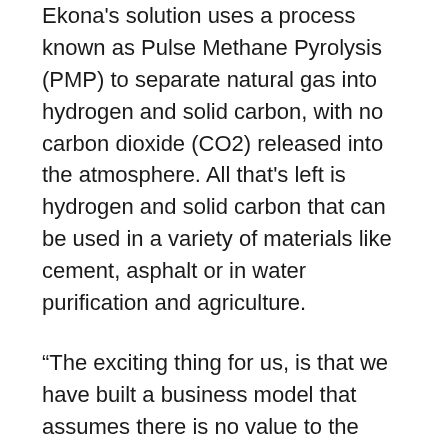Ekona's solution uses a process known as Pulse Methane Pyrolysis (PMP) to separate natural gas into hydrogen and solid carbon, with no carbon dioxide (CO2) released into the atmosphere. All that's left is hydrogen and solid carbon that can be used in a variety of materials like cement, asphalt or in water purification and agriculture.
“The exciting thing for us, is that we have built a business model that assumes there is no value to the solid carbon. We worked from the assumption that we had to get our hydrogen production costs to less than the incumbent [SMR] plus Carbon Capture and Storage (CSS) for this to work, and we have done that,” Reid says.
Reid was part of the Hydrogen 1.0 story when he served as president and CEO of Cellex Power (which